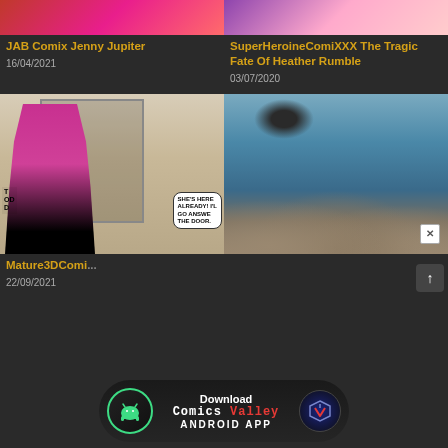[Figure (illustration): Comic thumbnail top strip for JAB Comix Jenny Jupiter]
[Figure (illustration): Comic thumbnail top strip for SuperHeroineComiXXX The Tragic Fate Of Heather Rumble]
JAB Comix Jenny Jupiter
16/04/2021
SuperHeroineComiXXX The Tragic Fate Of Heather Rumble
03/07/2020
[Figure (illustration): Comic panel showing woman in pink dress sitting at table, speech bubble says SHE'S HERE ALREADY! I'LL GO ANSWER THE DOOR.]
[Figure (illustration): 3D rendered image of monster tentacles/stone creatures in water environment with close X button]
Mature3DComi...
22/09/2021
[Figure (infographic): Download Comics Valley Android App banner with Android robot icon and CV logo]